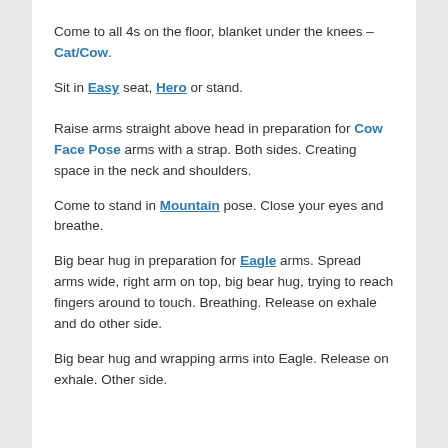Come to all 4s on the floor, blanket under the knees – Cat/Cow.
Sit in Easy seat, Hero or stand.
Raise arms straight above head in preparation for Cow Face Pose arms with a strap. Both sides. Creating space in the neck and shoulders.
Come to stand in Mountain pose. Close your eyes and breathe.
Big bear hug in preparation for Eagle arms. Spread arms wide, right arm on top, big bear hug, trying to reach fingers around to touch. Breathing. Release on exhale and do other side.
Big bear hug and wrapping arms into Eagle. Release on exhale. Other side.